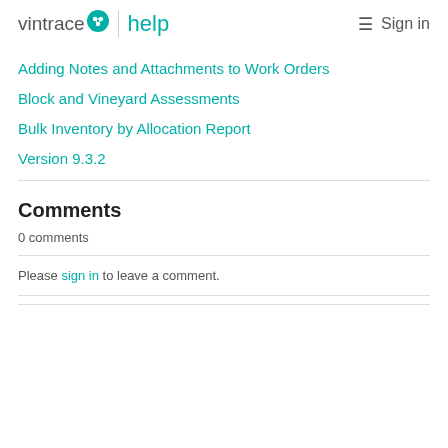vintrace help | Sign in
Adding Notes and Attachments to Work Orders
Block and Vineyard Assessments
Bulk Inventory by Allocation Report
Version 9.3.2
Comments
0 comments
Please sign in to leave a comment.